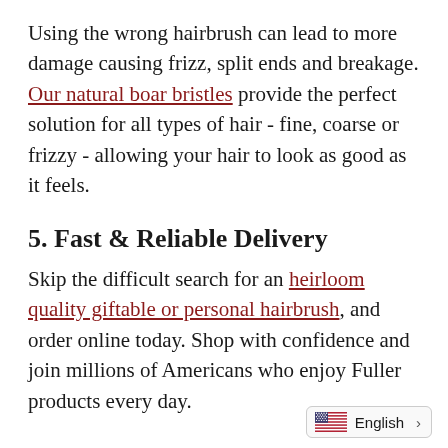Using the wrong hairbrush can lead to more damage causing frizz, split ends and breakage. Our natural boar bristles provide the perfect solution for all types of hair - fine, coarse or frizzy - allowing your hair to look as good as it feels.
5. Fast & Reliable Delivery
Skip the difficult search for an heirloom quality giftable or personal hairbrush, and order online today. Shop with confidence and join millions of Americans who enjoy Fuller products every day.